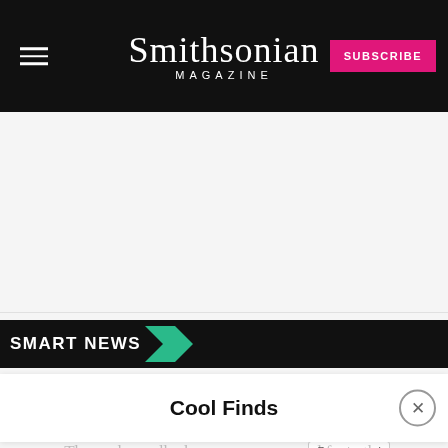Smithsonian MAGAZINE | SUBSCRIBE
[Figure (other): Advertisement placeholder area, light gray background]
SMART NEWS
Cool Finds
Paris' Infamous Love Locks Will Now Help Migrants
The pesky padlocks are now removed from the